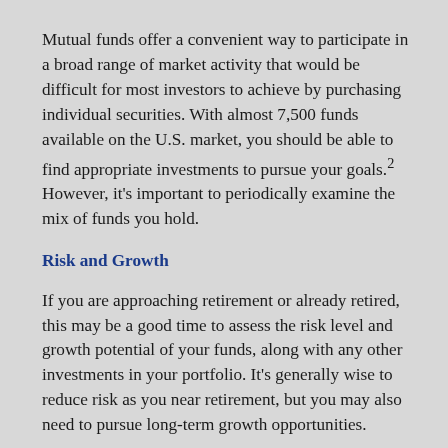Mutual funds offer a convenient way to participate in a broad range of market activity that would be difficult for most investors to achieve by purchasing individual securities. With almost 7,500 funds available on the U.S. market, you should be able to find appropriate investments to pursue your goals.² However, it's important to periodically examine the mix of funds you hold.
Risk and Growth
If you are approaching retirement or already retired, this may be a good time to assess the risk level and growth potential of your funds, along with any other investments in your portfolio. It's generally wise to reduce risk as you near retirement, but you may also need to pursue long-term growth opportunities.